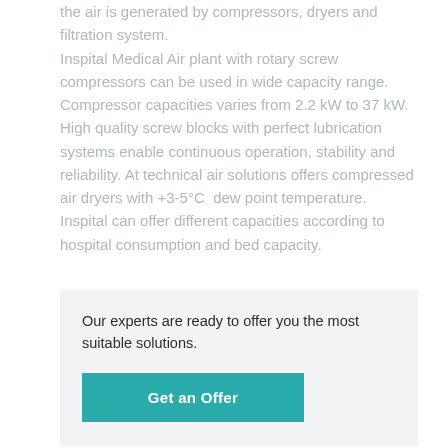the air is generated by compressors, dryers and filtration system. Inspital Medical Air plant with rotary screw compressors can be used in wide capacity range. Compressor capacities varies from 2.2 kW to 37 kW. High quality screw blocks with perfect lubrication systems enable continuous operation, stability and reliability. At technical air solutions offers compressed air dryers with +3-5°C  dew point temperature. Inspital can offer different capacities according to hospital consumption and bed capacity.
Our experts are ready to offer you the most suitable solutions.
Get an Offer